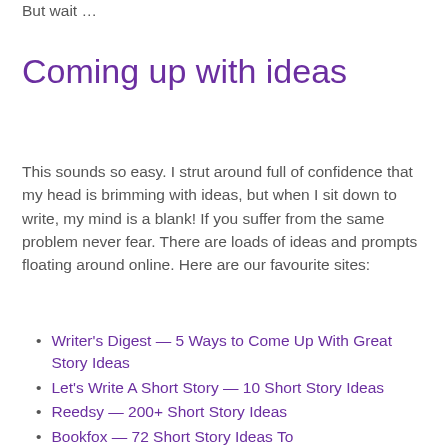But wait …
Coming up with ideas
This sounds so easy. I strut around full of confidence that my head is brimming with ideas, but when I sit down to write, my mind is a blank! If you suffer from the same problem never fear. There are loads of ideas and prompts floating around online. Here are our favourite sites:
Writer's Digest — 5 Ways to Come Up With Great Story Ideas
Let's Write A Short Story — 10 Short Story Ideas
Reedsy — 200+ Short Story Ideas
Bookfox — 72 Short Story Ideas To